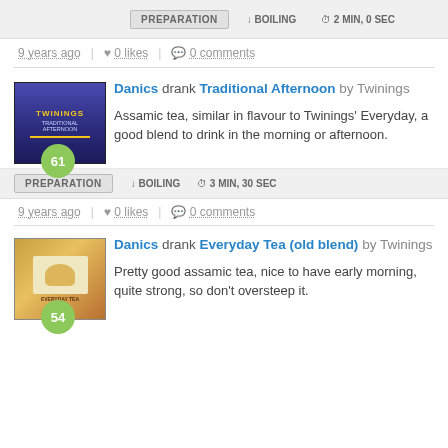PREPARATION  ↓ BOILING  ⏱ 2 MIN, 0 SEC
9 years ago | ♥ 0 likes | 💬 0 comments
Danics drank Traditional Afternoon by Twinings
Assamic tea, similar in flavour to Twinings' Everyday, a good blend to drink in the morning or afternoon.
PREPARATION  ↓ BOILING  ⏱ 3 MIN, 30 SEC
9 years ago | ♥ 0 likes | 💬 0 comments
Danics drank Everyday Tea (old blend) by Twinings
Pretty good assamic tea, nice to have early morning, quite strong, so don't oversteep it.